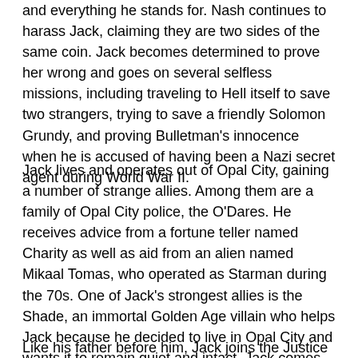and everything he stands for. Nash continues to harass Jack, claiming they are two sides of the same coin. Jack becomes determined to prove her wrong and goes on several selfless missions, including traveling to Hell itself to save two strangers, trying to save a friendly Solomon Grundy, and proving Bulletman's innocence when he is accused of having been a Nazi secret agent during World War II.
Jack lives and operates out of Opal City, gaining a number of strange allies. Among them are a family of Opal City police, the O'Dares. He receives advice from a fortune teller named Charity as well as aid from an alien named Mikaal Tomas, who operated as Starman during the 70s. One of Jack's strongest allies is the Shade, an immortal Golden Age villain who helps Jack because he decided to live in Opal City and wants it to remain quiet and intact. Jack comes to suspect that there is more nobility in the Shade's help, however.
Like his father before him, Jack joins the Justice Society of